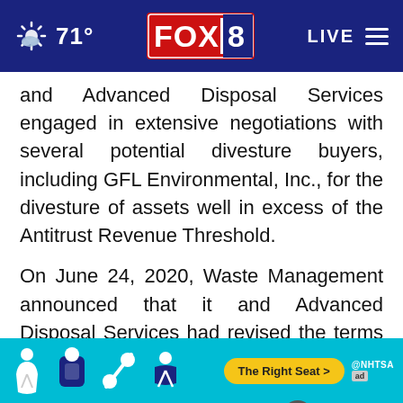FOX 8 | 71° | LIVE
and Advanced Disposal Services engaged in extensive negotiations with several potential divesture buyers, including GFL Environmental, Inc., for the divesture of assets well in excess of the Antitrust Revenue Threshold.
On June 24, 2020, Waste Management announced that it and Advanced Disposal Services had revised the terms of the merger and that Waste Management needed to divest substantially more than previously disclosed to receive DOS approval for the deal.
[Figure (screenshot): NHTSA 'The Right Seat' advertisement banner with car seat safety icons at the bottom of the screen]